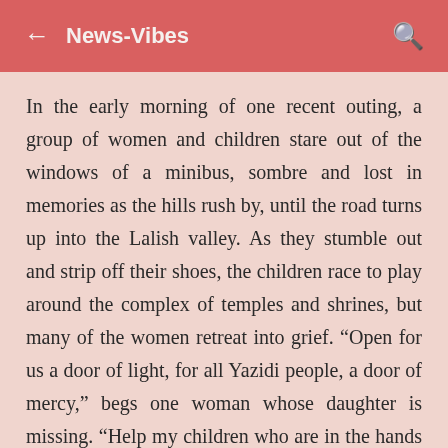← News-Vibes
In the early morning of one recent outing, a group of women and children stare out of the windows of a minibus, sombre and lost in memories as the hills rush by, until the road turns up into the Lalish valley. As they stumble out and strip off their shoes, the children race to play around the complex of temples and shrines, but many of the women retreat into grief. “Open for us a door of light, for all Yazidi people, a door of mercy,” begs one woman whose daughter is missing. “Help my children who are in the hands of Isis.”
After lunch and a meeting with clerics who repeat Baba Sheikh’s welcome, the women end the day at the sacred white spring, and can return to repeat the rituals as often as they